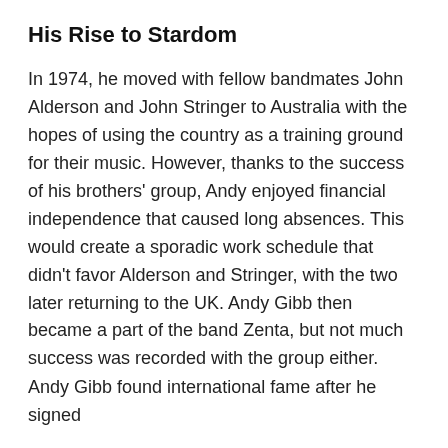His Rise to Stardom
In 1974, he moved with fellow bandmates John Alderson and John Stringer to Australia with the hopes of using the country as a training ground for their music. However, thanks to the success of his brothers' group, Andy enjoyed financial independence that caused long absences. This would create a sporadic work schedule that didn't favor Alderson and Stringer, with the two later returning to the UK. Andy Gibb then became a part of the band Zenta, but not much success was recorded with the group either.
Andy Gibb found international fame after he signed